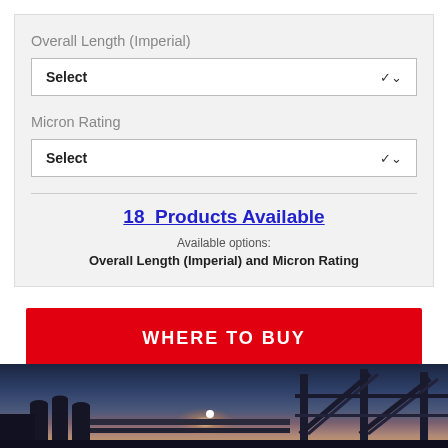Overall Length (Imperial)
Select
Micron Rating
Select
18  Products Available
Available options:
Overall Length (Imperial) and Micron Rating
WHERE TO BUY
[Figure (photo): Industrial scene at dusk showing factory/plant silhouette with steel bridge structure, bright light source (sunburst), and purple/orange sunset sky]